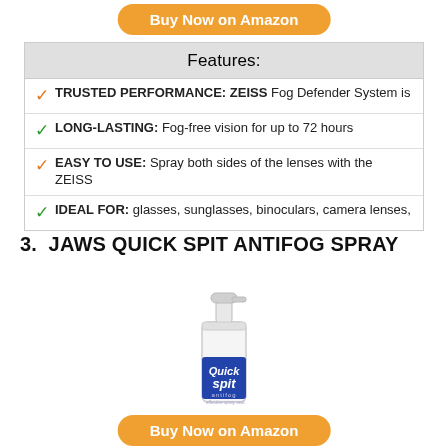Buy Now on Amazon
| Features: |
| --- |
| ✓ TRUSTED PERFORMANCE: ZEISS Fog Defender System is |
| ✓ LONG-LASTING: Fog-free vision for up to 72 hours |
| ✓ EASY TO USE: Spray both sides of the lenses with the ZEISS |
| ✓ IDEAL FOR: glasses, sunglasses, binoculars, camera lenses, |
3. JAWS QUICK SPIT ANTIFOG SPRAY
[Figure (photo): White spray bottle with blue label reading 'Quick Spit' antifog spray product]
Buy Now on Amazon